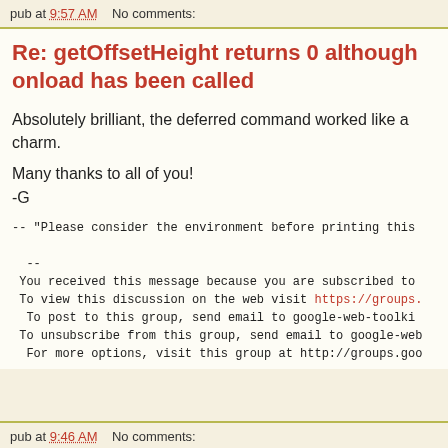pub at 9:57 AM   No comments:
Re: getOffsetHeight returns 0 although onload has been called
Absolutely brilliant, the deferred command worked like a charm.
Many thanks to all of you!
-G
-- "Please consider the environment before printing this
  --
 You received this message because you are subscribed to
 To view this discussion on the web visit https://groups.
  To post to this group, send email to google-web-toolki
 To unsubscribe from this group, send email to google-web
  For more options, visit this group at http://groups.goo
pub at 9:46 AM   No comments: